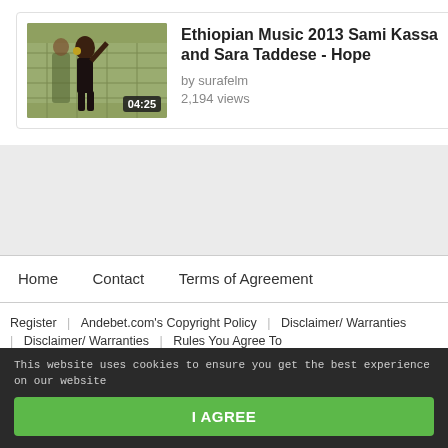[Figure (screenshot): Video thumbnail of Ethiopian Music 2013 Sami Kassa and Sara Taddese with duration badge 04:25]
Ethiopian Music 2013 Sami Kassa and Sara Taddese - Hope
by surafelm
2,194 views
Home   Contact   Terms of Agreement
Register | Andebet.com's Copyright Policy | Disclaimer/ Warranties | Disclaimer/ Warranties | Rules You Agree To
This website uses cookies to ensure you get the best experience on our website
I AGREE